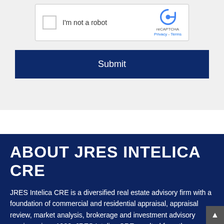[Figure (screenshot): reCAPTCHA widget showing a checkbox labeled 'I'm not a robot' with the reCAPTCHA logo, Privacy and Terms links]
Submit
ABOUT JRES INTELICA CRE
JRES Intelica CRE is a diversified real estate advisory firm with a foundation of commercial and residential appraisal, appraisal review, market analysis, brokerage and investment advisory services since 1982. JRES Intelica CRE resulted from the merger of JRES with Intelica CRE in 2021, and assists clients with strategic direction and